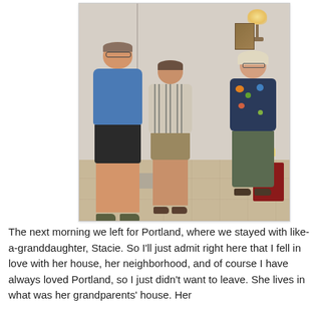[Figure (photo): Three people posing together indoors in what appears to be a hotel or home lobby. On the left is a tall man wearing a blue t-shirt and black shorts. In the center is a shorter younger woman in a striped button-up shirt and olive shorts. On the right is an older woman with blonde hair wearing a floral top and olive green pants. The background shows a wall sconce light, a painting, and a red piece of furniture.]
The next morning we left for Portland, where we stayed with like-a-granddaughter, Stacie. So I'll just admit right here that I fell in love with her house, her neighborhood, and of course I have always loved Portland, so I just didn't want to leave. She lives in what was her grandparents' house. Her